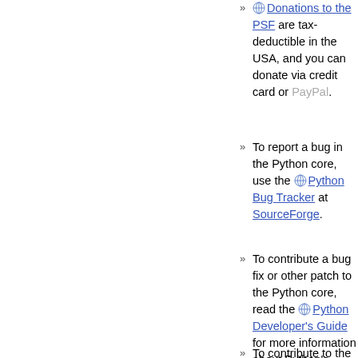Donations to the PSF are tax-deductible in the USA, and you can donate via credit card or PayPal.
To report a bug in the Python core, use the Python Bug Tracker at SourceForge.
To contribute a bug fix or other patch to the Python core, read the Python Developer's Guide for more information about Python's development process.
To contribute to the